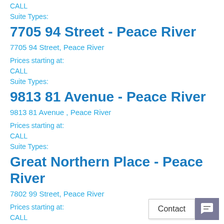CALL
Suite Types:
7705 94 Street - Peace River
7705 94 Street, Peace River
Prices starting at:
CALL
Suite Types:
9813 81 Avenue - Peace River
9813 81 Avenue , Peace River
Prices starting at:
CALL
Suite Types:
Great Northern Place - Peace River
7802 99 Street, Peace River
Prices starting at:
CALL
Suite Types:
Great Northern Place - Peace River
7801 98 Street, Peace River